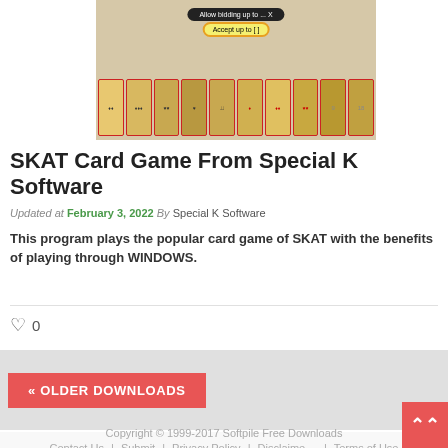[Figure (screenshot): Screenshot of SKAT card game software showing playing cards laid out in a row with an 'Accept up to' dialog box]
SKAT Card Game From Special K Software
Updated at February 3, 2022 By Special K Software
This program plays the popular card game of SKAT with the benefits of playing through WINDOWS.
♡ 0
« OLDER DOWNLOADS
Copyright © 1999-2017 Softpile Free Downloads
Contact Us | Submit | Privacy Policy | Disclaimer | Terms of Use